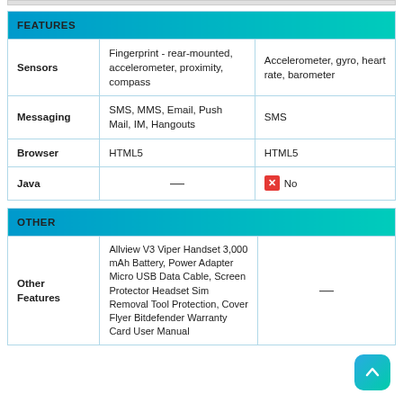|  |  |  |
| --- | --- | --- |
| FEATURES |  |  |
| Sensors | Fingerprint - rear-mounted, accelerometer, proximity, compass | Accelerometer, gyro, heart rate, barometer |
| Messaging | SMS, MMS, Email, Push Mail, IM, Hangouts | SMS |
| Browser | HTML5 | HTML5 |
| Java | — | ✗ No |
|  |  |  |
| --- | --- | --- |
| OTHER |  |  |
| Other Features | Allview V3 Viper Handset 3,000 mAh Battery, Power Adapter Micro USB Data Cable, Screen Protector Headset Sim Removal Tool Protection, Cover Flyer Bitdefender Warranty Card User Manual | — |